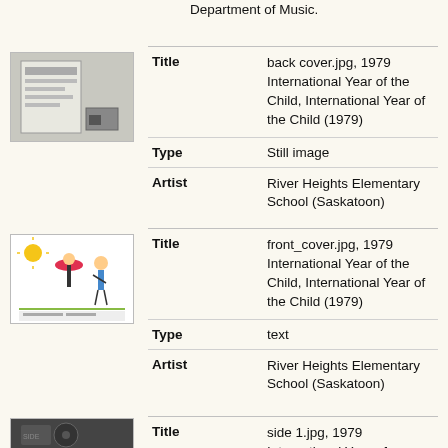Department of Music.
[Figure (photo): Thumbnail of back cover image, showing a black and white photo of a record or document.]
Title	back cover.jpg, 1979 International Year of the Child, International Year of the Child (1979)
Type	Still image
Artist	River Heights Elementary School (Saskatoon)
[Figure (photo): Thumbnail of front cover image, showing a colorful children's drawing with figures and a sun.]
Title	front_cover.jpg, 1979 International Year of the Child, International Year of the Child (1979)
Type	text
Artist	River Heights Elementary School (Saskatoon)
[Figure (photo): Thumbnail of side 1 image, partially visible at bottom of page.]
Title	side 1.jpg, 1979 International Year of